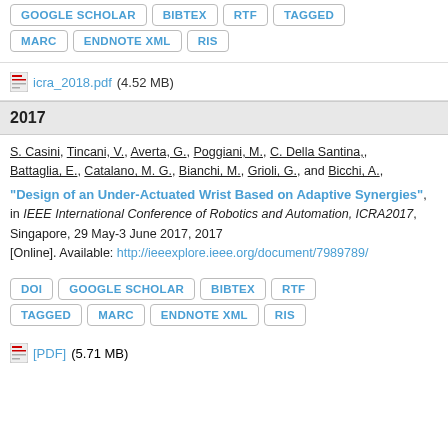GOOGLE SCHOLAR  BIBTEX  RTF  TAGGED  MARC  ENDNOTE XML  RIS
icra_2018.pdf (4.52 MB)
2017
S. Casini, Tincani, V., Averta, G., Poggiani, M., C. Della Santina,, Battaglia, E., Catalano, M. G., Bianchi, M., Grioli, G., and Bicchi, A., "Design of an Under-Actuated Wrist Based on Adaptive Synergies", in IEEE International Conference of Robotics and Automation, ICRA2017, Singapore, 29 May-3 June 2017, 2017 [Online]. Available: http://ieeexplore.ieee.org/document/7989789/
DOI  GOOGLE SCHOLAR  BIBTEX  RTF  TAGGED  MARC  ENDNOTE XML  RIS
[PDF] (5.71 MB)